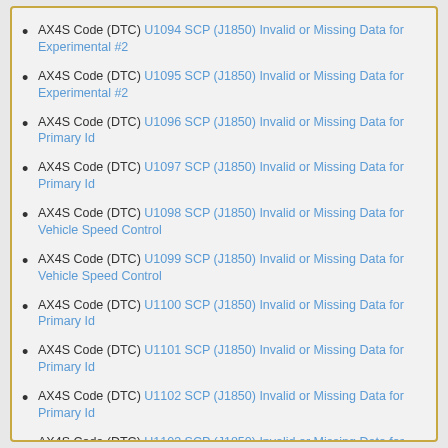AX4S Code (DTC) U1094 SCP (J1850) Invalid or Missing Data for Experimental #2
AX4S Code (DTC) U1095 SCP (J1850) Invalid or Missing Data for Experimental #2
AX4S Code (DTC) U1096 SCP (J1850) Invalid or Missing Data for Primary Id
AX4S Code (DTC) U1097 SCP (J1850) Invalid or Missing Data for Primary Id
AX4S Code (DTC) U1098 SCP (J1850) Invalid or Missing Data for Vehicle Speed Control
AX4S Code (DTC) U1099 SCP (J1850) Invalid or Missing Data for Vehicle Speed Control
AX4S Code (DTC) U1100 SCP (J1850) Invalid or Missing Data for Primary Id
AX4S Code (DTC) U1101 SCP (J1850) Invalid or Missing Data for Primary Id
AX4S Code (DTC) U1102 SCP (J1850) Invalid or Missing Data for Primary Id
AX4S Code (DTC) U1103 SCP (J1850) Invalid or Missing Data for Primary Id